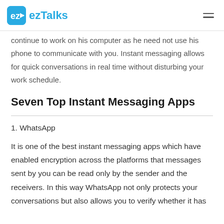ezTalks
continue to work on his computer as he need not use his phone to communicate with you. Instant messaging allows for quick conversations in real time without disturbing your work schedule.
Seven Top Instant Messaging Apps
1. WhatsApp
It is one of the best instant messaging apps which have enabled encryption across the platforms that messages sent by you can be read only by the sender and the receivers. In this way WhatsApp not only protects your conversations but also allows you to verify whether it has